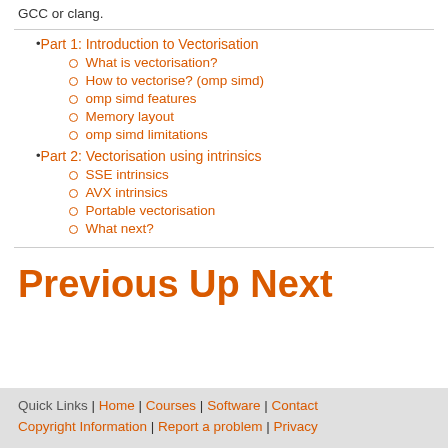GCC or clang.
Part 1: Introduction to Vectorisation
What is vectorisation?
How to vectorise? (omp simd)
omp simd features
Memory layout
omp simd limitations
Part 2: Vectorisation using intrinsics
SSE intrinsics
AVX intrinsics
Portable vectorisation
What next?
Previous Up Next
Quick Links | Home | Courses | Software | Contact | Copyright Information | Report a problem | Privacy